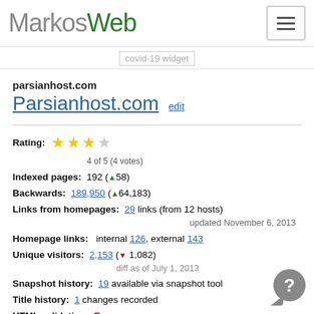MarkosWeb
[Figure (screenshot): covid-19 widget placeholder image]
parsianhost.com
Parsianhost.com edit
Rating: 4 of 5 (4 votes)
Indexed pages: 192 (▲58)
Backwards: 189,950 (▲64,183)
Links from homepages: 29 links (from 12 hosts) updated November 6, 2013
Homepage links: internal 126, external 143
Unique visitors: 2,153 (▼ 1,082) diff as of July 1, 2013
Snapshot history: 19 available via snapshot tool
Title history: 1 changes recorded
HTML validation: Error
Duplicates: Duplicates: with similar title: 1, with